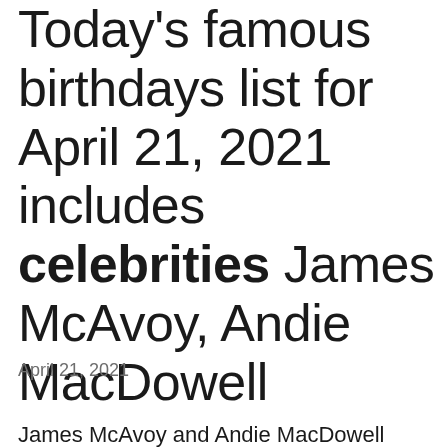Today's famous birthdays list for April 21, 2021 includes celebrities James McAvoy, Andie MacDowell
April 21, 2021
James McAvoy and Andie MacDowell